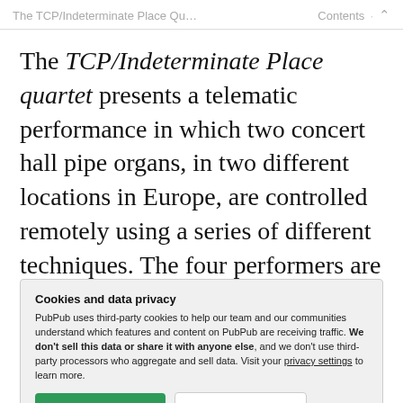The TCP/Indeterminate Place Qu…  Contents  ·  ˄
The TCP/Indeterminate Place quartet presents a telematic performance in which two concert hall pipe organs, in two different locations in Europe, are controlled remotely using a series of different techniques. The four performers are located at the KTH R1 Experimental
Cookies and data privacy
PubPub uses third-party cookies to help our team and our communities understand which features and content on PubPub are receiving traffic. We don't sell this data or share it with anyone else, and we don't use third-party processors who aggregate and sell data. Visit your privacy settings to learn more.
performance for NIME 2021 further